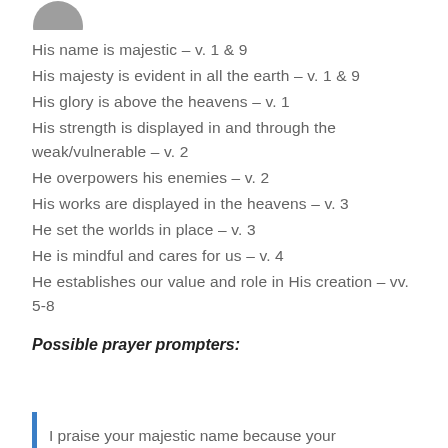[Figure (other): Partial gray circle icon at top left, cropped]
His name is majestic – v. 1 & 9
His majesty is evident in all the earth – v. 1 & 9
His glory is above the heavens – v. 1
His strength is displayed in and through the weak/vulnerable – v. 2
He overpowers his enemies – v. 2
His works are displayed in the heavens – v. 3
He set the worlds in place – v. 3
He is mindful and cares for us – v. 4
He establishes our value and role in His creation – vv. 5-8
Possible prayer prompters:
I praise your majestic name because your